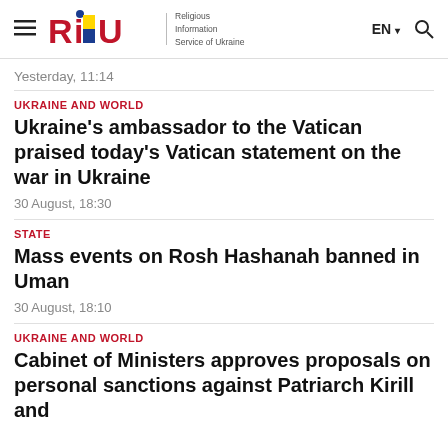RISU — Religious Information Service of Ukraine | EN | Search
Yesterday, 11:14
UKRAINE AND WORLD
Ukraine's ambassador to the Vatican praised today's Vatican statement on the war in Ukraine
30 August, 18:30
STATE
Mass events on Rosh Hashanah banned in Uman
30 August, 18:10
UKRAINE AND WORLD
Cabinet of Ministers approves proposals on personal sanctions against Patriarch Kirill and